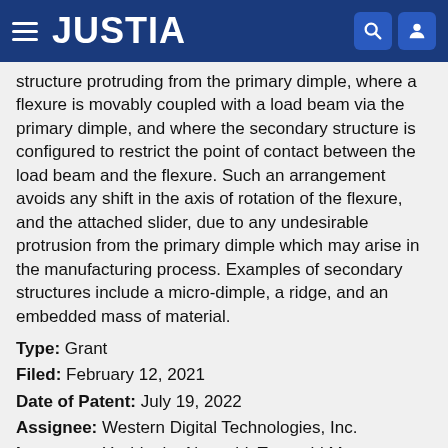JUSTIA
structure protruding from the primary dimple, where a flexure is movably coupled with a load beam via the primary dimple, and where the secondary structure is configured to restrict the point of contact between the load beam and the flexure. Such an arrangement avoids any shift in the axis of rotation of the flexure, and the attached slider, due to any undesirable protrusion from the primary dimple which may arise in the manufacturing process. Examples of secondary structures include a micro-dimple, a ridge, and an embedded mass of material.
Type: Grant
Filed: February 12, 2021
Date of Patent: July 19, 2022
Assignee: Western Digital Technologies, Inc.
Inventors: Yoshinobu Noguchi, Tsuyoshi Matsumoto, Hiro... Toshihir... Tomochi Suehi...